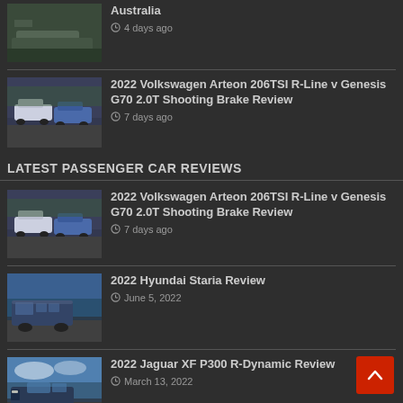[Figure (photo): Thumbnail of a truck/ute vehicle (dark colour)]
Australia
4 days ago
[Figure (photo): Thumbnail of two cars parked — white Volkswagen Arteon and blue Genesis G70 Shooting Brake]
2022 Volkswagen Arteon 206TSI R-Line v Genesis G70 2.0T Shooting Brake Review
7 days ago
LATEST PASSENGER CAR REVIEWS
[Figure (photo): Thumbnail of two cars parked — white Volkswagen Arteon and blue Genesis G70 Shooting Brake]
2022 Volkswagen Arteon 206TSI R-Line v Genesis G70 2.0T Shooting Brake Review
7 days ago
[Figure (photo): Thumbnail of dark blue Hyundai Staria van driving along a road]
2022 Hyundai Staria Review
June 5, 2022
[Figure (photo): Thumbnail of dark blue Jaguar XF P300 on a road with mountains in background]
2022 Jaguar XF P300 R-Dynamic Review
March 13, 2022